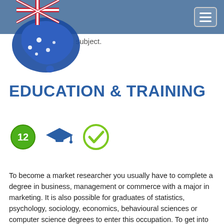Navigation bar with Australian map logo and hamburger menu
earch subject.
EDUCATION & TRAINING
[Figure (illustration): Three icons: a green circle with number 12, a blue graduation cap, and a green circle checkmark]
To become a market researcher you usually have to complete a degree in business, management or commerce with a major in marketing. It is also possible for graduates of statistics, psychology, sociology, economics, behavioural sciences or computer science degrees to enter this occupation. To get into these courses you usually need to gain your HSC/ACT Year 12. Prerequisite